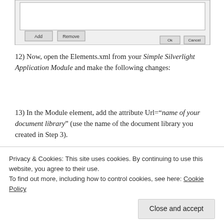[Figure (screenshot): Partial screenshot of a dialog box showing Add/Remove buttons and OK/Cancel buttons at bottom right]
12) Now, open the Elements.xml from your Simple Silverlight Application Module and make the following changes:
13) In the Module element, add the attribute Url="name of your document library" (use the name of the document library you created in Step 3).
14) Add the following File element inside the Module
Privacy & Cookies: This site uses cookies. By continuing to use this website, you agree to their use.
To find out more, including how to control cookies, see here: Cookie Policy
Close and accept